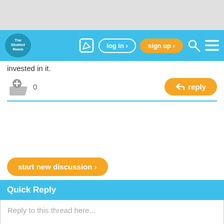[Figure (screenshot): Top gray banner area]
The Student Room | log in > | sign up > | search | menu
invested in it.
[Figure (other): Thumbs up with plus icon and count 0]
[Figure (other): Reply button with arrow icon]
[Figure (other): start new discussion > button]
Quick Reply
Reply to this thread here...